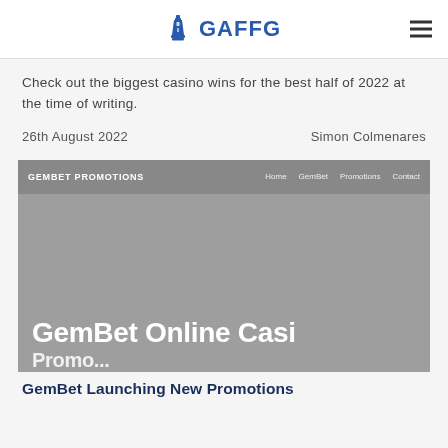GAFFG
Check out the biggest casino wins for the best half of 2022 at the time of writing.
26th August 2022   Simon Colmenares
[Figure (screenshot): Screenshot of GemBet Promotions website showing navigation bar with Home, GemBet, Promotions, Contact links and large heading text 'GemBet Online Casi...' on a grey background]
GemBet Launching New Promotions